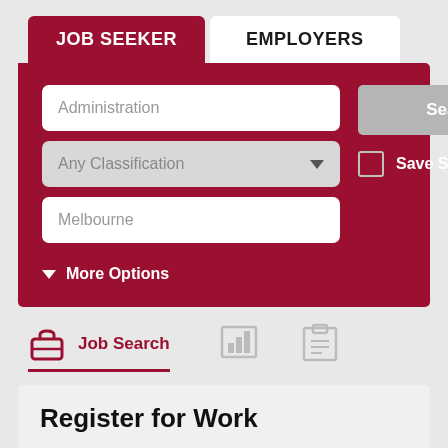JOB SEEKER
EMPLOYERS
[Figure (screenshot): Job search form with fields: Administration (text input), Any Classification (dropdown), Melbourne (text input), Search Job button, Save Search checkbox, and More Options link]
Job Search
Register for Work